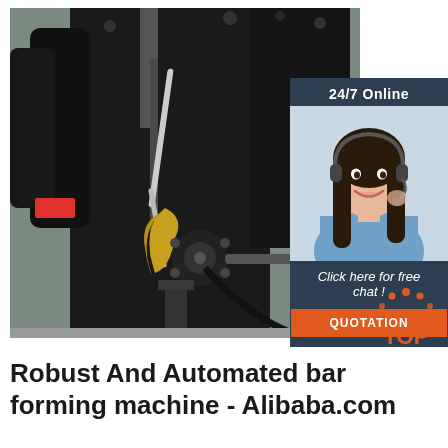[Figure (photo): Close-up photo of a black industrial bar forming machine showing mechanical components including gears, levers, rods and a crescent-shaped yellow metal part]
[Figure (illustration): Online chat widget with '24/7 Online' header, photo of a smiling woman with headset, 'Click here for free chat!' text, and an orange QUOTATION button]
[Figure (logo): TOP badge logo with orange dots and letters]
Robust And Automated bar forming machine - Alibaba.com